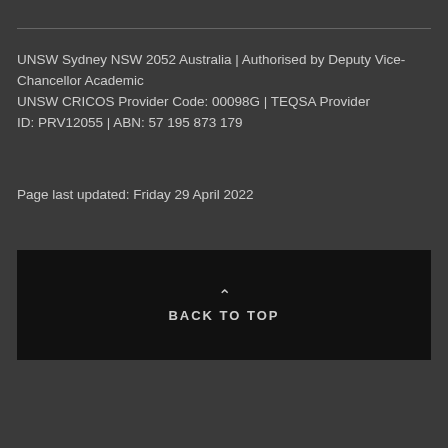UNSW Sydney NSW 2052 Australia | Authorised by Deputy Vice-Chancellor Academic
UNSW CRICOS Provider Code: 00098G | TEQSA Provider ID: PRV12055 | ABN: 57 195 873 179
Page last updated: Friday 29 April 2022
BACK TO TOP